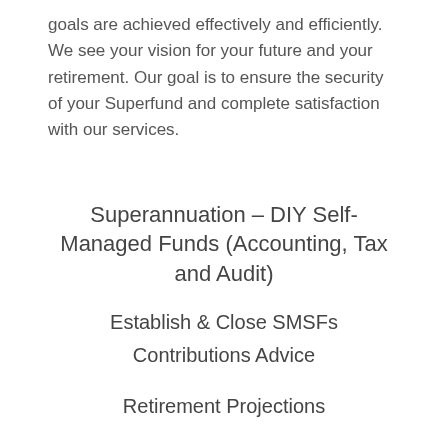goals are achieved effectively and efficiently. We see your vision for your future and your retirement. Our goal is to ensure the security of your Superfund and complete satisfaction with our services.
Superannuation – DIY Self-Managed Funds (Accounting, Tax and Audit)
Establish & Close SMSFs
Contributions Advice
Retirement Projections
Retirement Income Streams